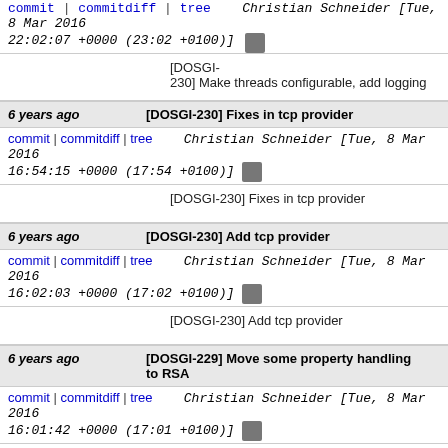22:02:07 +0000 (23:02 +0100)]
[DOSGI-230] Make threads configurable, add logging
6 years ago   [DOSGI-230] Fixes in tcp provider
commit | commitdiff | tree   Christian Schneider [Tue, 8 Mar 2016 16:54:15 +0000 (17:54 +0100)]
[DOSGI-230] Fixes in tcp provider
6 years ago   [DOSGI-230] Add tcp provider
commit | commitdiff | tree   Christian Schneider [Tue, 8 Mar 2016 16:02:03 +0000 (17:02 +0100)]
[DOSGI-230] Add tcp provider
6 years ago   [DOSGI-229] Move some property handling to RSA
commit | commitdiff | tree   Christian Schneider [Tue, 8 Mar 2016 16:01:42 +0000 (17:01 +0100)]
[DOSGI-229] Move some property handling to RSA